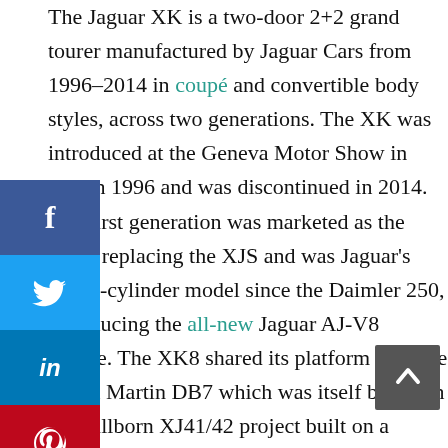The Jaguar XK is a two-door 2+2 grand tourer manufactured by Jaguar Cars from 1996–2014 in coupé and convertible body styles, across two generations. The XK was introduced at the Geneva Motor Show in March 1996 and was discontinued in 2014. The first generation was marketed as the XK8, replacing the XJS and was Jaguar's first 8-cylinder model since the Daimler 250, introducing the all-new Jaguar AJ-V8 engine. The XK8 shared its platform with the Aston Martin DB7 which was itself based on the stillborn XJ41/42 project built on a modified XJ-S chassis conceived in the mid-1980s. The second generation of the XK, noted for its aluminum monocoque chassis and construction, was launched in 2006 for the 2007 model year. The performance variant was introduced in both of the
[Figure (infographic): Social media sharing sidebar with Facebook, Twitter, LinkedIn, Pinterest, and Reddit buttons, plus a collapse arrow]